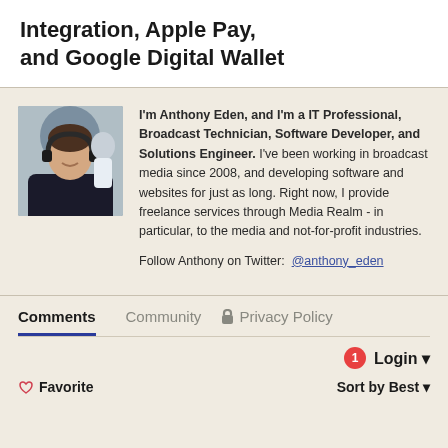Integration, Apple Pay, and Google Digital Wallet
[Figure (photo): Profile photo of Anthony Eden, a man wearing headphones in a broadcast/media environment]
I'm Anthony Eden, and I'm a IT Professional, Broadcast Technician, Software Developer, and Solutions Engineer. I've been working in broadcast media since 2008, and developing software and websites for just as long. Right now, I provide freelance services through Media Realm - in particular, to the media and not-for-profit industries. Follow Anthony on Twitter: @anthony_eden
Comments  Community  🔒 Privacy Policy
1  Login ▾
♡ Favorite  Sort by Best ▾